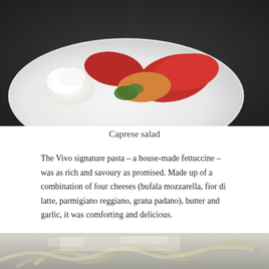[Figure (photo): A white plate with a caprese salad featuring roasted red and orange peppers, fresh white ricotta or burrata cheese, and green herb sauce (pesto), on a dark stone surface.]
Caprese salad
The Vivo signature pasta – a house-made fettuccine – was as rich and savoury as promised. Made up of a combination of four cheeses (bufala mozzarella, fior di latte, parmigiano reggiano, grana padano), butter and garlic, it was comforting and delicious.
[Figure (photo): A close-up of house-made fettuccine pasta with a creamy four-cheese sauce, dusted with grated parmesan, on a white plate.]